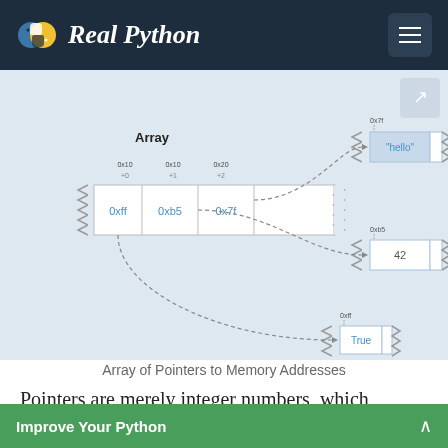Real Python
[Figure (infographic): Diagram showing an Array of Pointers to Memory Addresses. On the left, a labeled 'Array' with memory addresses 0x10, 0x18, 0x20 and offsets +0, +1, +2, containing cells with values 0xff, 0xb5, 0x7f shown in blue. Dashed arrows point from each cell to memory blocks on the right: 0x7f points to a block containing "hello", 0xb5 points to a block containing 42, and 0xff points to a block containing True.]
Array of Pointers to Memory Addresses
Pointers are merely integer numbers, which always take up the same amount of space. It’s customary to denote memory addresses using
Improve Your Python